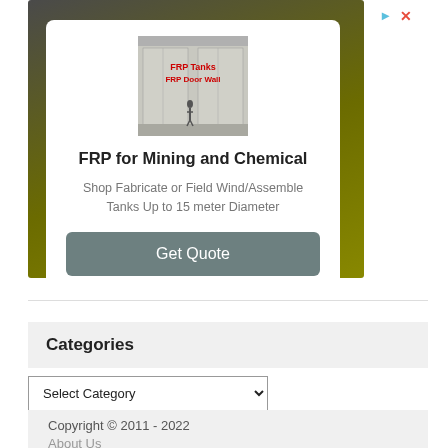[Figure (infographic): Advertisement banner for FRP (Fiber Reinforced Plastic) tanks for mining and chemical use. Contains a product photo of large industrial tanks with red text overlay reading 'FRP Tanks FRP Door Wall', a bold headline 'FRP for Mining and Chemical', descriptive text 'Shop Fabricate or Field Wind/Assemble Tanks Up to 15 meter Diameter', and a grey 'Get Quote' button.]
Categories
Select Category
Copyright © 2011 - 2022
About Us